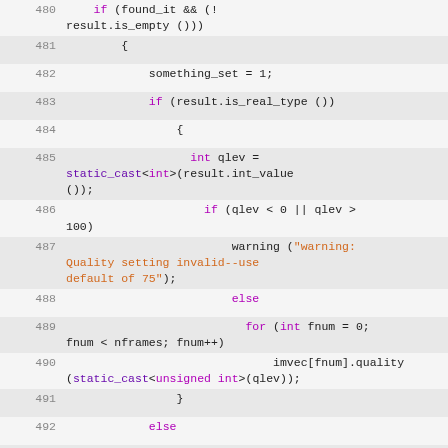[Figure (screenshot): C++ source code listing showing lines 480-499, featuring conditional logic for quality setting validation with if/else blocks, for loop, static_cast, and warning function calls.]